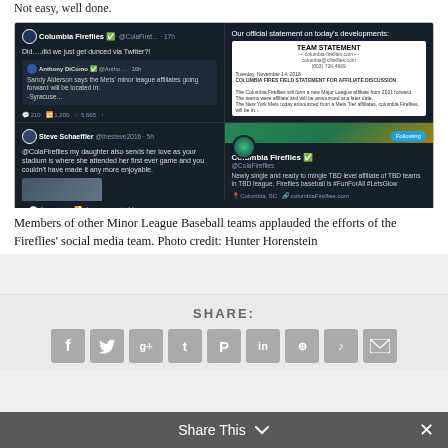Not easy, well done.
[Figure (screenshot): Screenshot collage of social media posts: Columbia Fireflies Twitter post asking if they got dunced via Twitter, with Anthony DiComo tweet about Sandy Alderson/Mets minor league affiliates going to Syracuse; a Columbia Fireflies official team statement; Steve Schaeffler tweet praising Columbia Fireflies; Columbia Fireflies Twitter profile showing 'Newly single and ready to mingle TBD level affiliate of TBD teams in TBD league. Fireflies baseball is #FunForAll #LetsGlow']
Members of other Minor League Baseball teams applauded the efforts of the Fireflies' social media team. Photo credit: Hunter Horenstein
SHARE:
[Figure (infographic): Row of social media share buttons: Facebook, Twitter, Google+, Tumblr, Pinterest, LinkedIn, StumbleUpon-like, another social, Email]
Share This